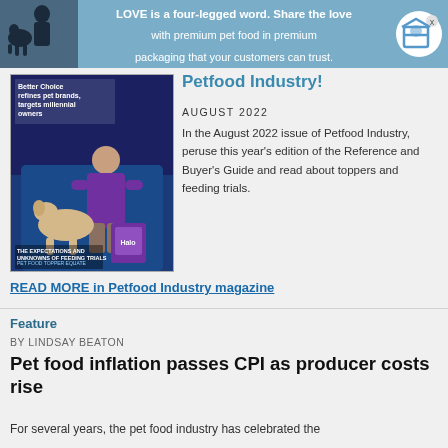[Figure (infographic): Advertisement banner: blue background with person and dog silhouette on left, box/package logo on right. Text: LOVE is a four-legged word. Share the love with premium pet food in premium packaging that your customers can trust.]
[Figure (photo): Magazine cover of Petfood Industry August 2022 issue showing a man in purple shirt sitting with a golden retriever on a blue couch, with text 'Better Choice refines pet brands, targets millennial owners']
Petfood Industry!
AUGUST 2022
In the August 2022 issue of Petfood Industry, peruse this year's edition of the Reference and Buyer's Guide and read about toppers and feeding trials.
READ MORE in Petfood Industry magazine
Feature
BY LINDSAY BEATON
Pet food inflation passes CPI as producer costs rise
For several years, the pet food industry has celebrated the